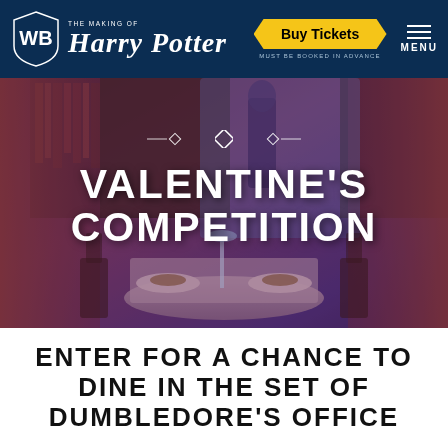[Figure (logo): WB shield logo with 'The Making of Harry Potter' text in white on dark navy navigation bar]
Buy Tickets
MUST BE BOOKED IN ADVANCE
MENU
[Figure (photo): Dumbledore's office set decorated as a romantic dinner table, with a statue of Dumbledore and bookshelves in background, purple/pink tinted lighting]
VALENTINE'S COMPETITION
ENTER FOR A CHANCE TO DINE IN THE SET OF DUMBLEDORE'S OFFICE